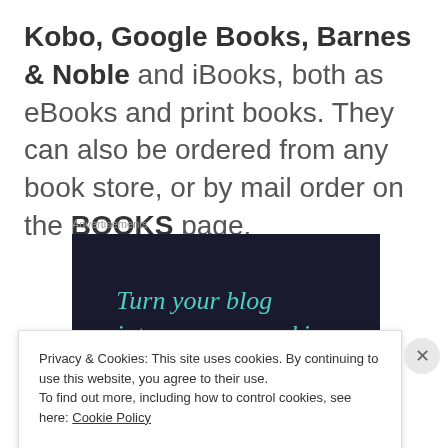Kobo, Google Books, Barnes & Noble and iBooks, both as eBooks and print books. They can also be ordered from any book store, or by mail order on the BOOKS page.
Advertisements
[Figure (other): Dark navy advertisement banner with teal italic text reading 'Turn your blog into a money-making']
Privacy & Cookies: This site uses cookies. By continuing to use this website, you agree to their use.
To find out more, including how to control cookies, see here: Cookie Policy
Close and accept